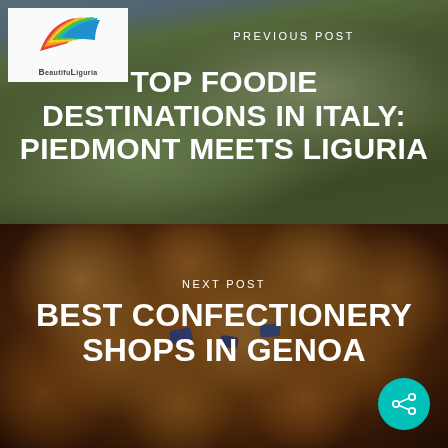[Figure (photo): Aerial/landscape view of Piedmont countryside with vineyard rows and hills under hazy sky, dark overlay]
[Figure (logo): BeautifulLiguria logo with colorful bird/wing motif in red, orange, yellow, green, teal above text]
PREVIOUS POST
TOP FOODIE DESTINATIONS IN ITALY: PIEDMONT MEETS LIGURIA
[Figure (photo): Close-up of glazed chestnut or sweet pastry balls on a white plate with blue sugar crystals decoration, dark overlay]
NEXT POST
BEST CONFECTIONERY SHOPS IN GENOA